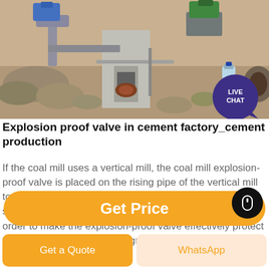[Figure (photo): Industrial/construction site photo showing heavy machinery, concrete structures, pipes, and rocky material on the ground. A 'LIVE CHAT' speech bubble icon appears in the upper right corner.]
Explosion proof valve in cement factory_cement production
If the coal mill uses a vertical mill, the coal mill explosion-proof valve is placed on the rising pipe of the vertical mill to the coal dust remover. And the explosion-proof valve should be arranged vertically (as shown in Figure-4). In order to make the explosion-proof valve effectively protect the pipeline and the vertical grinding at the
Get Price
Get a Quote
WhatsApp